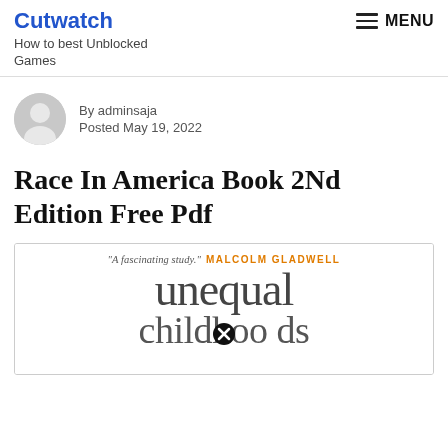Cutwatch
How to best Unblocked Games
By adminsaja
Posted May 19, 2022
Race In America Book 2Nd Edition Free Pdf
[Figure (illustration): Book cover showing 'unequal childhoods' with quote 'A fascinating study.' by Malcolm Gladwell in orange text at top]